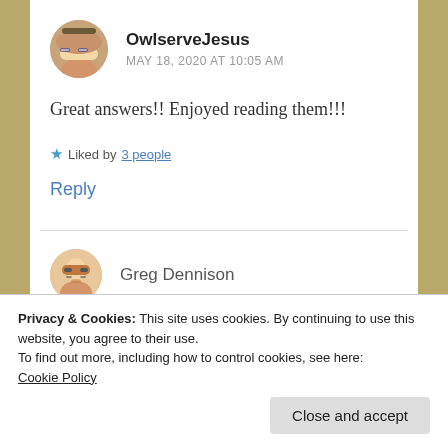OwlserveJesus
MAY 18, 2020 AT 10:05 AM
Great answers!! Enjoyed reading them!!!
★ Liked by 3 people
Reply
Greg Dennison
Privacy & Cookies: This site uses cookies. By continuing to use this website, you agree to their use.
To find out more, including how to control cookies, see here: Cookie Policy
Close and accept